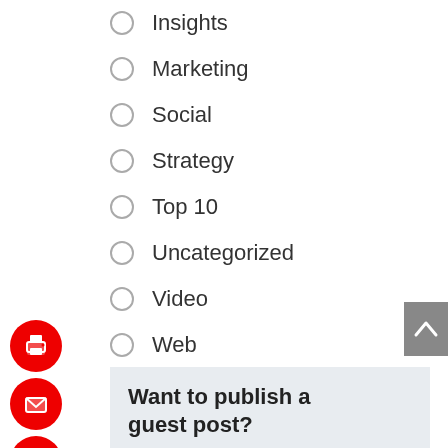Insights
Marketing
Social
Strategy
Top 10
Uncategorized
Video
Web
Submit
[Figure (infographic): Social media share icons (print, email, Pinterest, Twitter, LinkedIn, Facebook) as red circular buttons on the left side]
[Figure (infographic): Back to top arrow button, grey rectangle on the right]
Want to publish a guest post?